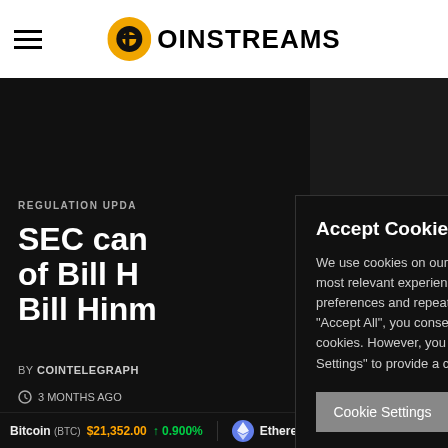COINSTREAMS
REGULATION UPDA...
SEC can... of Bill H... Bill Hinm...
BY COINTELEGRAPH
3 MONTHS AGO
Accept Cookies to Continue
We use cookies on our website to give you the most relevant experience by remembering your preferences and repeat visits. By clicking "Accept All", you consent to the use of ALL the cookies. However, you may visit "Cookie Settings" to provide a controlled consent.
Bitcoin (BTC) $21,352.00 ↑ 0.900%    Ethereum (ETH) $1,...